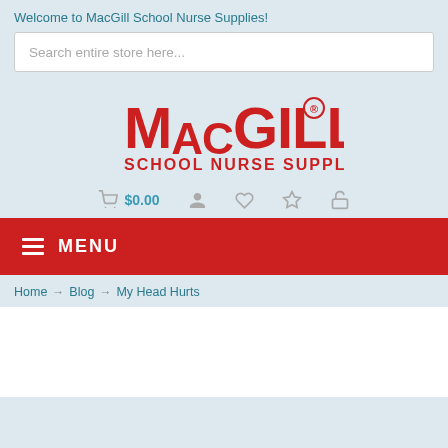Welcome to MacGill School Nurse Supplies!
Search entire store here...
[Figure (logo): MacGill School Nurse Supplies logo in red text on light blue background]
$0.00
MENU
Home → Blog → My Head Hurts